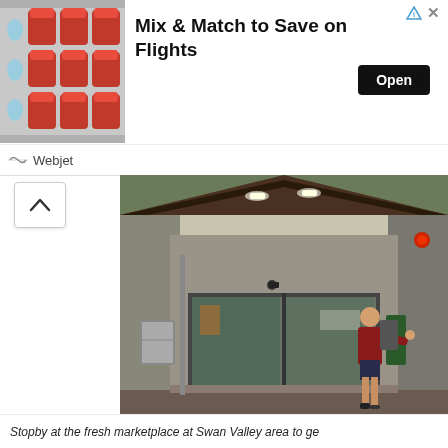[Figure (photo): Advertisement banner: airplane interior seats with red headrests, text 'Mix & Match to Save on Flights', Open button, Webjet logo]
[Figure (photo): Exterior entrance of a fresh marketplace store at Swan Valley area, with a boy in a red shirt about to enter through automatic sliding glass doors under a pitched roof with lights]
Stopby at the fresh marketplace at Swan Valley area to ge